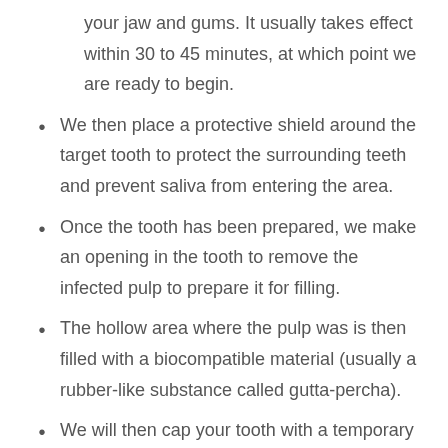your jaw and gums. It usually takes effect within 30 to 45 minutes, at which point we are ready to begin.
We then place a protective shield around the target tooth to protect the surrounding teeth and prevent saliva from entering the area.
Once the tooth has been prepared, we make an opening in the tooth to remove the infected pulp to prepare it for filling.
The hollow area where the pulp was is then filled with a biocompatible material (usually a rubber-like substance called gutta-percha).
We will then cap your tooth with a temporary crown.